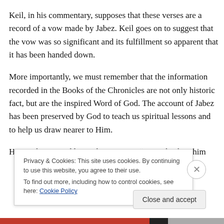Keil, in his commentary, supposes that these verses are a record of a vow made by Jabez. Keil goes on to suggest that the vow was so significant and its fulfillment so apparent that it has been handed down.
More importantly, we must remember that the information recorded in the Books of the Chronicles are not only historic fact, but are the inspired Word of God. The account of Jabez has been preserved by God to teach us spiritual lessons and to help us draw nearer to Him.
His mother named him Jabez, saying, “I gave birth to him
Privacy & Cookies: This site uses cookies. By continuing to use this website, you agree to their use.
To find out more, including how to control cookies, see here: Cookie Policy